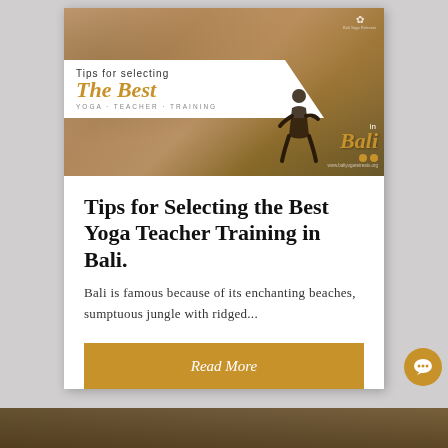[Figure (photo): Hero image for a yoga teacher training guide in Bali featuring a silhouette of a person doing yoga at sunset with palm trees, with text overlay: 'Tips for selecting The Best YOGA TEACHER TRAINING in Bali']
Tips for Selecting the Best Yoga Teacher Training in Bali.
Bali is famous because of its enchanting beaches, sumptuous jungle with ridged...
Read More